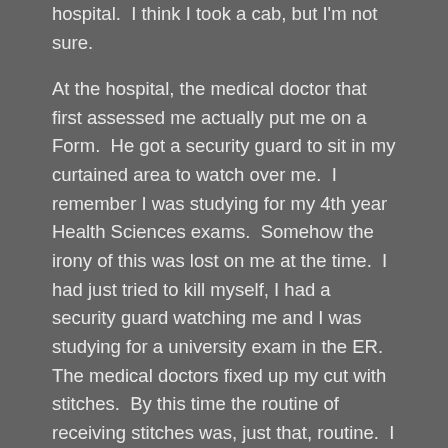hospital.  I think I took a cab, but I'm not sure.
At the hospital, the medical doctor that first assessed me actually put me on a Form.  He got a security guard to sit in my curtained area to watch over me.  I remember I was studying for my 4th year Health Sciences exams.  Somehow the irony of this was lost on me at the time.  I had just tried to kill myself, I had a security guard watching me and I was studying for a university exam in the ER.  The medical doctors fixed up my cut with stitches.  By this time the routine of receiving stitches was, just that, routine.  I had received hundreds, sometimes as many as 50 at a time.  After I was fixed up I was transferred to the psych section of the ER.  I don't remember too much about what happened but I do remember I was told that there were